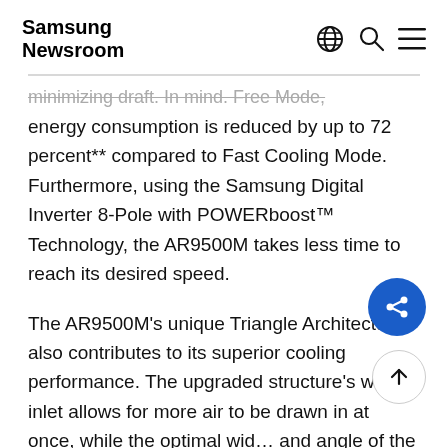Samsung Newsroom
...minimizing draft. In mind. Free Mode, energy consumption is reduced by up to 72 percent** compared to Fast Cooling Mode. Furthermore, using the Samsung Digital Inverter 8-Pole with POWERboost™ Technology, the AR9500M takes less time to reach its desired speed.
The AR9500M's unique Triangle Architecture also contributes to its superior cooling performance. The upgraded structure's wider inlet allows for more air to be drawn in at once, while the optimal width and angle of the outlet, extra v-blades and